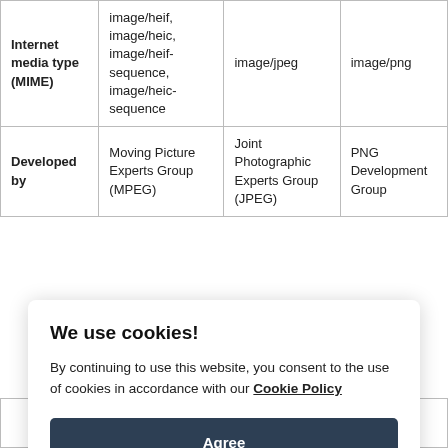| Internet media type (MIME) | image/heif, image/heic, image/heif-sequence, image/heic-sequence | image/jpeg | image/png |
| Developed by | Moving Picture Experts Group (MPEG) | Joint Photographic Experts Group (JPEG) | PNG Development Group |
|  | Format. |  | storage of a popular |
We use cookies!
By continuing to use this website, you consent to the use of cookies in accordance with our Cookie Policy
Agree